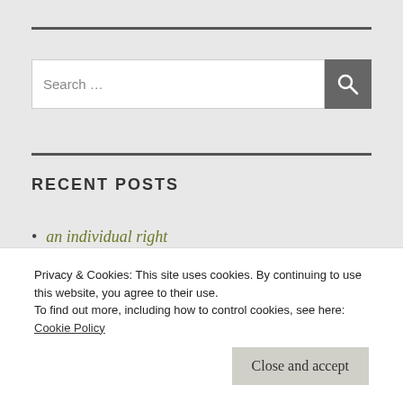[Figure (other): Horizontal rule divider at top]
[Figure (other): Search bar with text input and search button icon]
[Figure (other): Horizontal rule divider in middle]
RECENT POSTS
an individual right
wait. that's illegal.
Privacy & Cookies: This site uses cookies. By continuing to use this website, you agree to their use.
To find out more, including how to control cookies, see here:
Cookie Policy
Close and accept